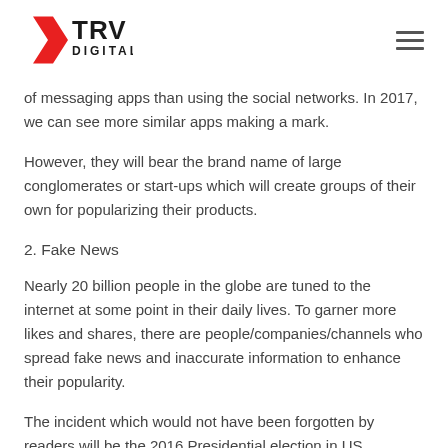TRV DIGITAL
of messaging apps than using the social networks. In 2017, we can see more similar apps making a mark.
However, they will bear the brand name of large conglomerates or start-ups which will create groups of their own for popularizing their products.
2. Fake News
Nearly 20 billion people in the globe are tuned to the internet at some point in their daily lives. To garner more likes and shares, there are people/companies/channels who spread fake news and inaccurate information to enhance their popularity.
The incident which would not have been forgotten by readers will be the 2016 Presidential election in US…